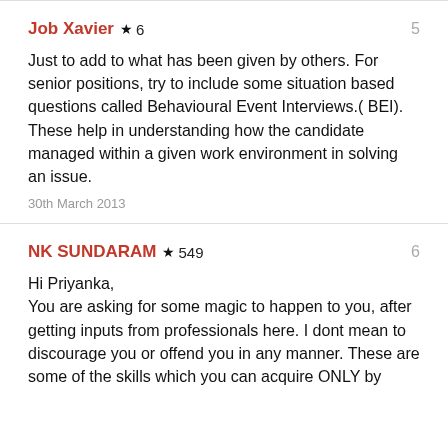Job Xavier ★ 6
Just to add to what has been given by others. For senior positions, try to include some situation based questions called Behavioural Event Interviews.( BEI). These help in understanding how the candidate managed within a given work environment in solving an issue.
30th March 2013
NK SUNDARAM ★ 549
Hi Priyanka,
You are asking for some magic to happen to you, after getting inputs from professionals here. I dont mean to discourage you or offend you in any manner. These are some of the skills which you can acquire ONLY by